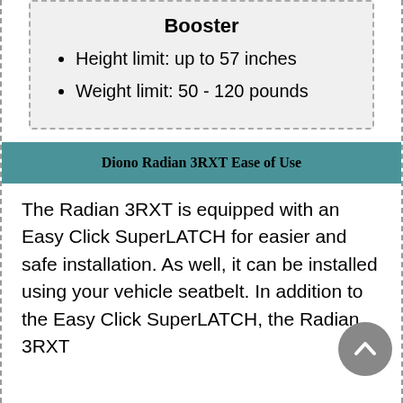Booster
Height limit: up to 57 inches
Weight limit: 50 - 120 pounds
Diono Radian 3RXT Ease of Use
The Radian 3RXT is equipped with an Easy Click SuperLATCH for easier and safe installation. As well, it can be installed using your vehicle seatbelt. In addition to the Easy Click SuperLATCH, the Radian 3RXT...